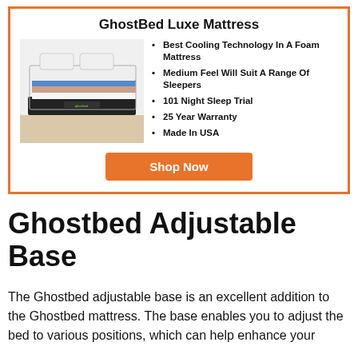GhostBed Luxe Mattress
[Figure (photo): Cross-section photo of GhostBed Luxe Mattress showing layered foam construction with white, blue, pink, and dark gray layers, with the mattress product displayed on a wooden floor.]
Best Cooling Technology In A Foam Mattress
Medium Feel Will Suit A Range Of Sleepers
101 Night Sleep Trial
25 Year Warranty
Made In USA
Shop Now
Ghostbed Adjustable Base
The Ghostbed adjustable base is an excellent addition to the Ghostbed mattress. The base enables you to adjust the bed to various positions, which can help enhance your